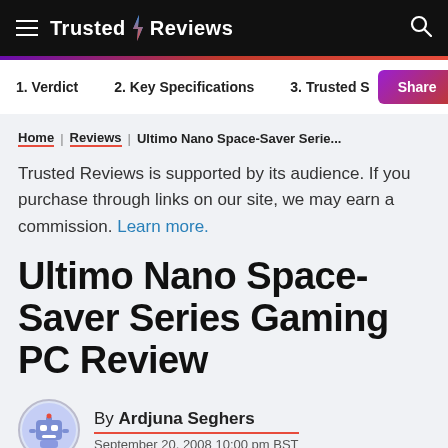Trusted Reviews
1. Verdict  2. Key Specifications  3. Trusted S  Share
Home | Reviews | Ultimo Nano Space-Saver Serie...
Trusted Reviews is supported by its audience. If you purchase through links on our site, we may earn a commission. Learn more.
Ultimo Nano Space-Saver Series Gaming PC Review
By Ardjuna Seghers
September 20, 2008 10:00 pm BST